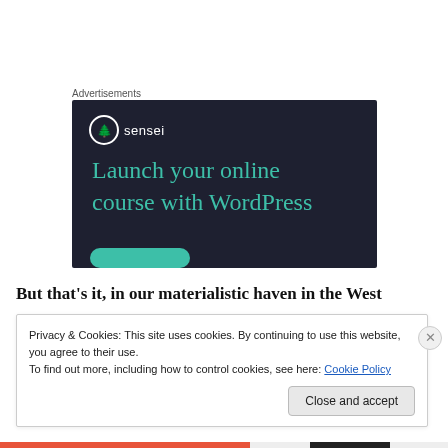Advertisements
[Figure (screenshot): Sensei advertisement banner with dark background showing logo and text 'Launch your online course with WordPress' with teal headline and teal button strip at bottom]
But that’s it, in our materialistic haven in the West
Privacy & Cookies: This site uses cookies. By continuing to use this website, you agree to their use.
To find out more, including how to control cookies, see here: Cookie Policy

Close and accept